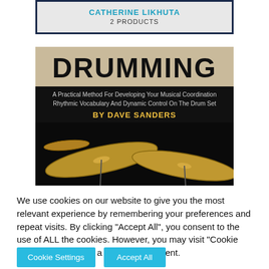CATHERINE LIKHUTA
2 PRODUCTS
[Figure (illustration): Book cover for 'DRUMMING: A Practical Method For Developing Your Musical Coordination Rhythmic Vocabulary And Dynamic Control On The Drum Set' by Dave Sanders. Shows large bold text 'DRUMMING' on tan background, subtitle and author on black background, with photo of drum cymbals at bottom.]
We use cookies on our website to give you the most relevant experience by remembering your preferences and repeat visits. By clicking "Accept All", you consent to the use of ALL the cookies. However, you may visit "Cookie Settings" to provide a controlled consent.
Cookie Settings
Accept All